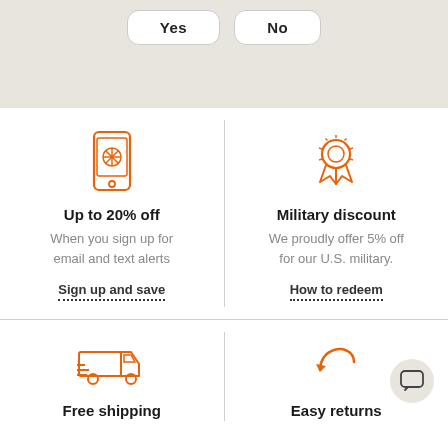[Figure (other): Yes and No rounded rectangle buttons on a beige/tan background]
[Figure (illustration): Orange smartphone icon with a snowflake/flower pattern on screen]
Up to 20% off
When you sign up for email and text alerts
Sign up and save
[Figure (illustration): Orange ribbon/badge award icon]
Military discount
We proudly offer 5% off for our U.S. military.
How to redeem
[Figure (illustration): Orange delivery truck icon with speed lines]
Free shipping
[Figure (illustration): Orange curved return arrow icon]
Easy returns